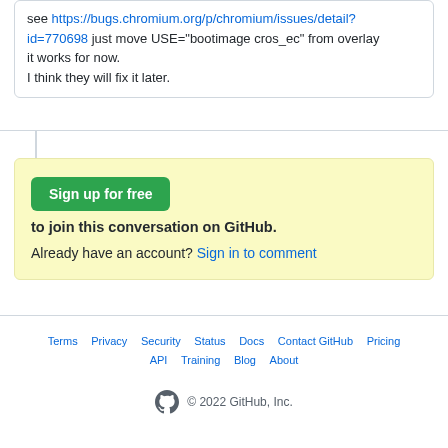see https://bugs.chromium.org/p/chromium/issues/detail?id=770698 just move USE="bootimage cros_ec" from overlay it works for now.
I think they will fix it later.
Sign up for free to join this conversation on GitHub. Already have an account? Sign in to comment
Terms  Privacy  Security  Status  Docs  Contact GitHub  Pricing  API  Training  Blog  About  © 2022 GitHub, Inc.